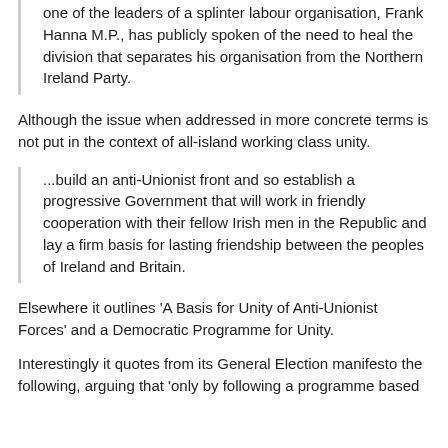one of the leaders of a splinter labour organisation, Frank Hanna M.P., has publicly spoken of the need to heal the division that separates his organisation from the Northern Ireland Party.
Although the issue when addressed in more concrete terms is not put in the context of all-island working class unity.
...build an anti-Unionist front and so establish a progressive Government that will work in friendly cooperation with their fellow Irish men in the Republic and lay a firm basis for lasting friendship between the peoples of Ireland and Britain.
Elsewhere it outlines ‘A Basis for Unity of Anti-Unionist Forces’ and a Democratic Programme for Unity.
Interestingly it quotes from its General Election manifesto the following, arguing that ‘only by following a programme based